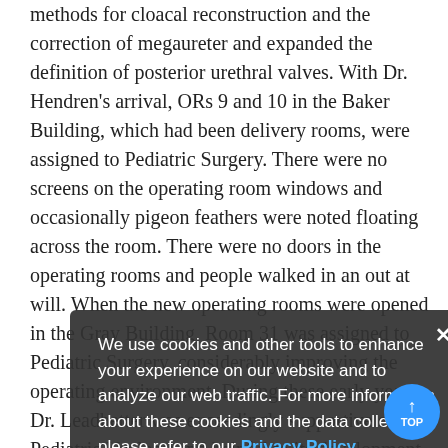methods for cloacal reconstruction and the correction of megaureter and expanded the definition of posterior urethral valves. With Dr. Hendren's arrival, ORs 9 and 10 in the Baker Building, which had been delivery rooms, were assigned to Pediatric Surgery. There were no screens on the operating room windows and occasionally pigeon feathers were noted floating across the room. There were no doors in the operating rooms and people walked in an out at will. When the new operating rooms were opened in the Gray Building, Room 31 was assigned to Pediatric Surgery, considerably improving the operating environment. During these early years, Dr. Leadbetter was exceedingly supportive of Pediatric Urology and helpful to its development. Both he and Dr. Hendren developed the concept of Pediatric Urology as a specialty. Through Dr. Leadbetter's efforts, a urology ... signed to Pediatric Urology. This began with Dr. Tony Middleton and included all Urology ...
We use cookies and other tools to enhance your experience on our website and to analyze our web traffic. For more information about these cookies and the data collected, please refer to our Privacy Policy